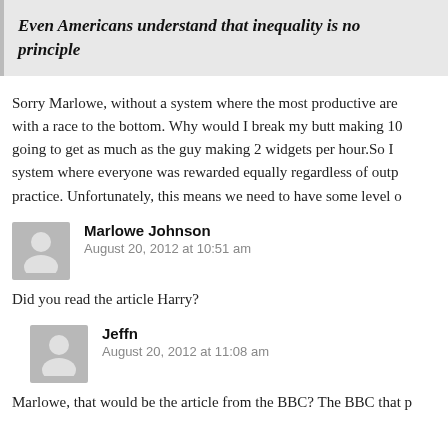Even Americans understand that inequality is no principle
Sorry Marlowe, without a system where the most productive are with a race to the bottom. Why would I break my butt making 10 going to get as much as the guy making 2 widgets per hour.So I system where everyone was rewarded equally regardless of outp practice. Unfortunately, this means we need to have some level
Marlowe Johnson
August 20, 2012 at 10:51 am
Did you read the article Harry?
Jeffn
August 20, 2012 at 11:08 am
Marlowe, that would be the article from the BBC? The BBC that